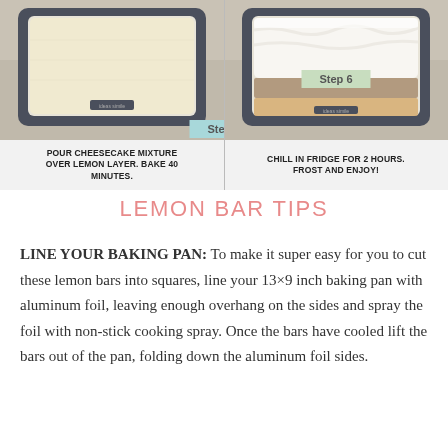[Figure (photo): Step 5: baking pan with cheesecake mixture (unbaked), with teal/blue 'Step 5' label badge]
POUR CHEESECAKE MIXTURE OVER LEMON LAYER. BAKE 40 MINUTES.
[Figure (photo): Step 6: baking pan with frosted/chilled cheesecake bars, with green 'Step 6' label badge]
CHILL IN FRIDGE FOR 2 HOURS. FROST AND ENJOY!
LEMON BAR TIPS
LINE YOUR BAKING PAN: To make it super easy for you to cut these lemon bars into squares, line your 13×9 inch baking pan with aluminum foil, leaving enough overhang on the sides and spray the foil with non-stick cooking spray. Once the bars have cooled lift the bars out of the pan, folding down the aluminum foil sides.